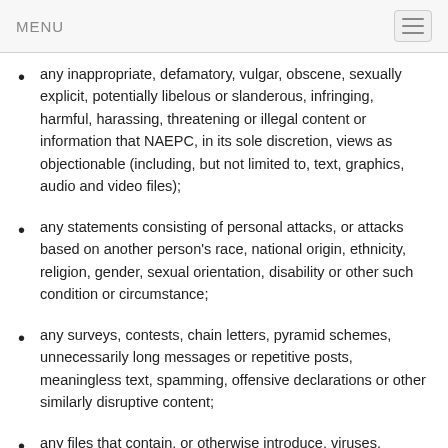MENU
any inappropriate, defamatory, vulgar, obscene, sexually explicit, potentially libelous or slanderous, infringing, harmful, harassing, threatening or illegal content or information that NAEPC, in its sole discretion, views as objectionable (including, but not limited to, text, graphics, audio and video files);
any statements consisting of personal attacks, or attacks based on another person's race, national origin, ethnicity, religion, gender, sexual orientation, disability or other such condition or circumstance;
any surveys, contests, chain letters, pyramid schemes, unnecessarily long messages or repetitive posts, meaningless text, spamming, offensive declarations or other similarly disruptive content;
any files that contain, or otherwise introduce, viruses, corrupted files or any other similar software, programs or routines that may damage the operation of another's